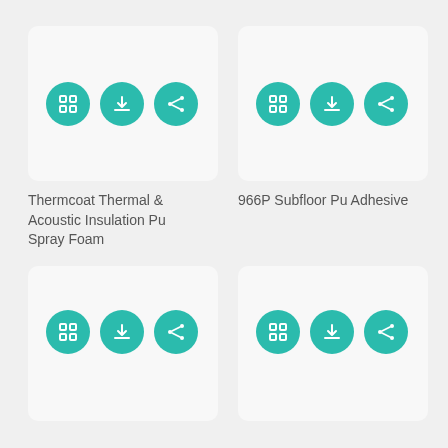[Figure (screenshot): Product card with expand, download, and share icon buttons on teal circular backgrounds]
Thermcoat Thermal & Acoustic Insulation Pu Spray Foam
[Figure (screenshot): Product card with expand, download, and share icon buttons on teal circular backgrounds]
966P Subfloor Pu Adhesive
[Figure (screenshot): Product card with expand, download, and share icon buttons on teal circular backgrounds]
[Figure (screenshot): Product card with expand, download, and share icon buttons on teal circular backgrounds]